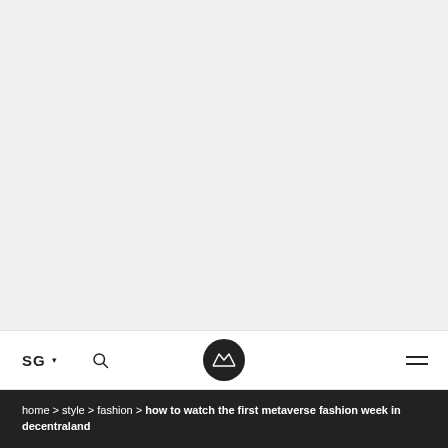[Figure (photo): Large image area, appears blank/white (image content not visible)]
SG ▾  [search icon]  [crown logo]  [hamburger menu]
home > style > fashion > how to watch the first metaverse fashion week in decentraland